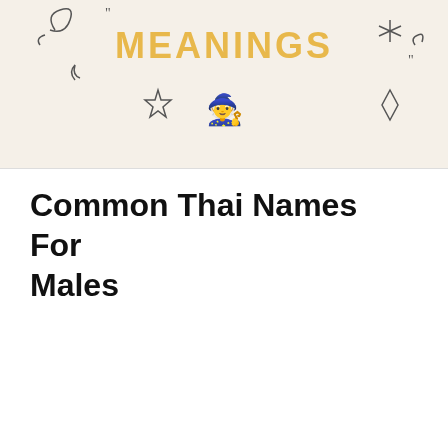[Figure (illustration): Website banner with 'MEANINGS' text in yellow/gold bold letters on a cream/beige background, decorated with doodle elements including stars, asterisks, swirls, quotation marks, a diamond shape, and a small monkey emoji character at the bottom center.]
Common Thai Names For Males
[Figure (infographic): Infographic image on a muted teal/blue-grey grid background showing a note card with italic text 'Common Thai Names' and 'For Males' with a pink label, a photo of a young Asian male, a butterfly graphic, and a small monkey character at the bottom left. Dark olive green tape holds the card.]